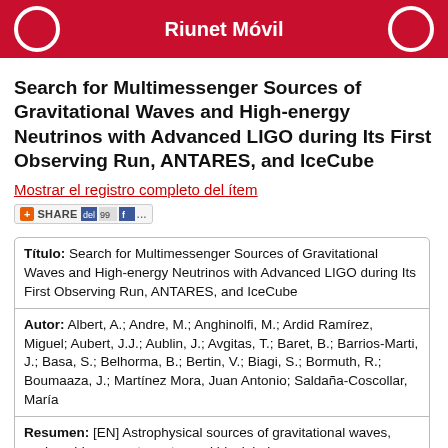Riunet Móvil
Search for Multimessenger Sources of Gravitational Waves and High-energy Neutrinos with Advanced LIGO during Its First Observing Run, ANTARES, and IceCube
Mostrar el registro completo del ítem
[Figure (other): Share button bar with social media icons]
| Título: | Search for Multimessenger Sources of Gravitational Waves and High-energy Neutrinos with Advanced LIGO during Its First Observing Run, ANTARES, and IceCube |
| Autor: | Albert, A.; Andre, M.; Anghinolfi, M.; Ardid Ramírez, Miguel; Aubert, J.J.; Aublin, J.; Avgitas, T.; Baret, B.; Barrios-Marti, J.; Basa, S.; Belhorma, B.; Bertin, V.; Biagi, S.; Bormuth, R.; Boumaaza, J.; Martínez Mora, Juan Antonio; Saldaña-Coscollar, María |
| Resumen: | [EN] Astrophysical sources of gravitational waves, such as binary neutron star and black hole mergers or core-collapse supernovae, can drive relativistic outflows, giving rise to non-thermal high-energy emission. High-energy neutrinos are signatures of such outflows. The detection of gravitational waves and high-energy neutrinos from common sources could help establish the connection between the dynamics of the |